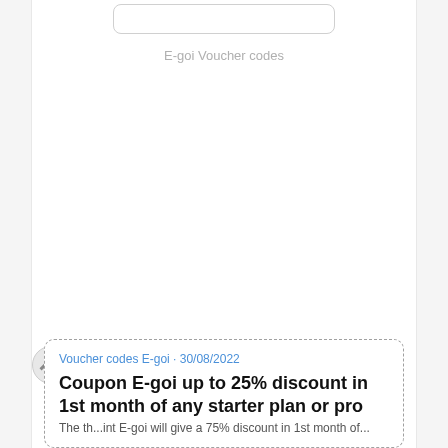[Figure (screenshot): Input field box for E-goi Voucher codes]
E-goi Voucher codes
Voucher codes E-goi · 30/08/2022
Coupon E-goi up to 25% discount in 1st month of any starter plan or pro
The th... int E-goi will give a 75% discount in 1st month of...